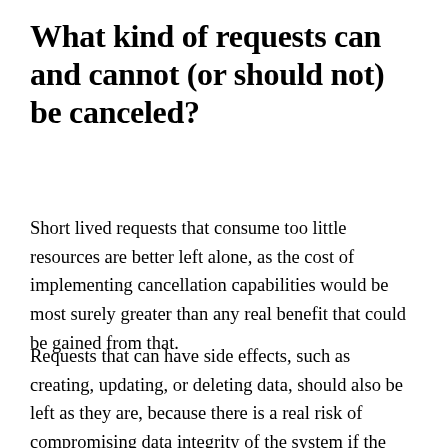What kind of requests can and cannot (or should not) be canceled?
Short lived requests that consume too little resources are better left alone, as the cost of implementing cancellation capabilities would be most surely greater than any real benefit that could be gained from that.
Requests that can have side effects, such as creating, updating, or deleting data, should also be left as they are, because there is a real risk of compromising data integrity of the system if the request is interrupted at the wrong moment, especially if the span multiple interconnected steps...